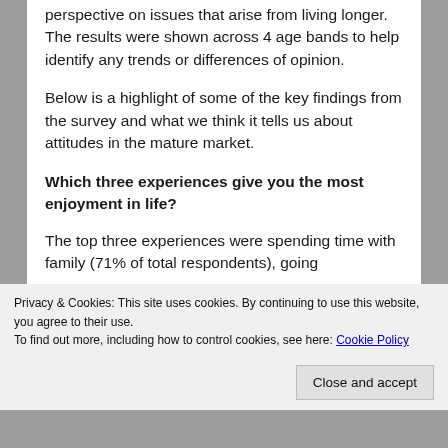perspective on issues that arise from living longer. The results were shown across 4 age bands to help identify any trends or differences of opinion.
Below is a highlight of some of the key findings from the survey and what we think it tells us about attitudes in the mature market.
Which three experiences give you the most enjoyment in life?
The top three experiences were spending time with family (71% of total respondents), going
Privacy & Cookies: This site uses cookies. By continuing to use this website, you agree to their use.
To find out more, including how to control cookies, see here: Cookie Policy
Close and accept